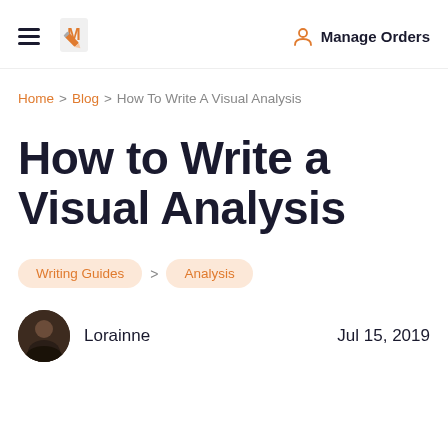Manage Orders
Home > Blog > How To Write A Visual Analysis
How to Write a Visual Analysis
Writing Guides
Analysis
Lorainne   Jul 15, 2019